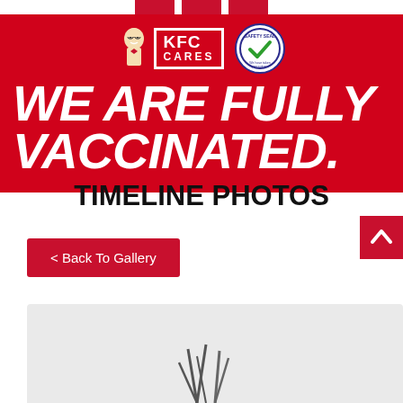[Figure (illustration): KFC Cares red banner advertisement with colonel figure on left, KFC CARES logo with white border box, Safety Seal circular badge with blue border and checkmark, large bold italic white text reading WE ARE FULLY VACCINATED.]
TIMELINE PHOTOS
< Back To Gallery
[Figure (photo): Partial photo visible at bottom of page showing gray/light background with dark grass or plant silhouette elements]